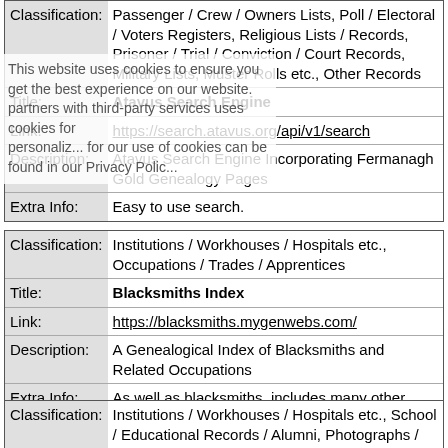| Label | Value |
| --- | --- |
| Classification: | Passenger / Crew / Owners Lists, Poll / Electoral / Voters Registers, Religious Lists / Records, Prisoner / Trial / Conviction / Court Records, Military Lists, Muster Rolls etc., Other Records |
| Title: | Atavus Search Engine |
| Link: | https://search.atavus.org/api/v1/search |
| Description: | Atavus Search Engine Incorporating Fermanagh Gold Genealogy Pages |
| Extra Info: | Easy to use search. |
| Label | Value |
| --- | --- |
| Classification: | Institutions / Workhouses / Hospitals etc., Occupations / Trades / Apprentices |
| Title: | Blacksmiths Index |
| Link: | https://blacksmiths.mygenwebs.com/ |
| Description: | A Genealogical Index of Blacksmiths and Related Occupations |
| Extra Info: | As well as blacksmiths, includes many other related occupations, also blacksmiths residing in asylums and workhouses. |
| Label | Value |
| --- | --- |
| Classification: | Institutions / Workhouses / Hospitals etc., School / Educational Records / Alumni, Photographs / Pictures |